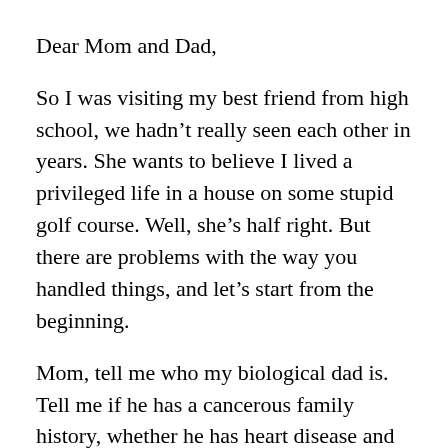Dear Mom and Dad,
So I was visiting my best friend from high school, we hadn’t really seen each other in years. She wants to believe I lived a privileged life in a house on some stupid golf course. Well, she’s half right. But there are problems with the way you handled things, and let’s start from the beginning.
Mom, tell me who my biological dad is. Tell me if he has a cancerous family history, whether he has heart disease and whether he has schizophrenia or other issues in his bloodline. If you don’t, I’ll probably never forgive you for this because doctors need this stuff. If you